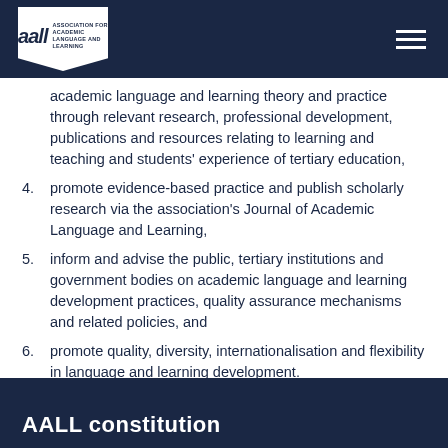AALL — Association for Academic Language and Learning
academic language and learning theory and practice through relevant research, professional development, publications and resources relating to learning and teaching and students' experience of tertiary education,
4. promote evidence-based practice and publish scholarly research via the association's Journal of Academic Language and Learning,
5. inform and advise the public, tertiary institutions and government bodies on academic language and learning development practices, quality assurance mechanisms and related policies, and
6. promote quality, diversity, internationalisation and flexibility in language and learning development.
AALL constitution